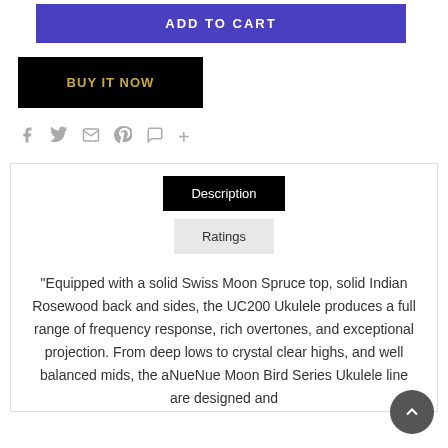ADD TO CART
BUY IT NOW
[Figure (other): Social share icons: Facebook, Twitter, Email, Pinterest, WhatsApp, Plus]
Description
Ratings
"Equipped with a solid Swiss Moon Spruce top, solid Indian Rosewood back and sides, the UC200 Ukulele produces a full range of frequency response, rich overtones, and exceptional projection. From deep lows to crystal clear highs, and well balanced mids, the aNueNue Moon Bird Series Ukulele line are designed and